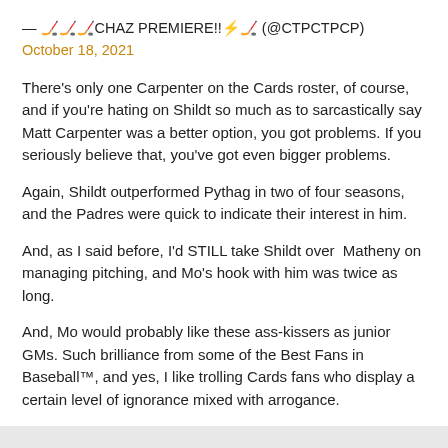— 🏒🏒🏒CHAZ PREMIERE!!⚡🏒 (@CTPCTPCP)
October 18, 2021
There's only one Carpenter on the Cards roster, of course, and if you're hating on Shildt so much as to sarcastically say Matt Carpenter was a better option, you got problems. If you seriously believe that, you've got even bigger problems.
Again, Shildt outperformed Pythag in two of four seasons, and the Padres were quick to indicate their interest in him.
And, as I said before, I'd STILL take Shildt over  Matheny on managing pitching, and Mo's hook with him was twice as long.
And, Mo would probably like these ass-kissers as junior GMs. Such brilliance from some of the Best Fans in Baseball™, and yes, I like trolling Cards fans who display a certain level of ignorance mixed with arrogance.